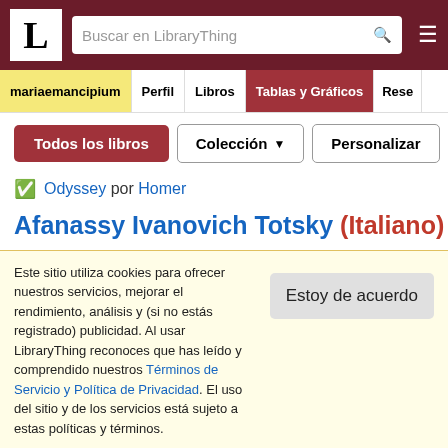LibraryThing - Buscar en LibraryThing
mariaemancipium | Perfil | Libros | Tablas y Gráficos | Rese...
Todos los libros | Colección ▼ | Personalizar
Odyssey por Homer
Afanassy Ivanovich Totsky (Italiano)
The Idiot (Barnes & Noble Classics) por Fyodor Dostoevsky
Afanasy Ivanovich Totsky (Inglés)
Este sitio utiliza cookies para ofrecer nuestros servicios, mejorar el rendimiento, análisis y (si no estás registrado) publicidad. Al usar LibraryThing reconoces que has leído y comprendido nuestros Términos de Servicio y Política de Privacidad. El uso del sitio y de los servicios está sujeto a estas políticas y términos.
Estoy de acuerdo